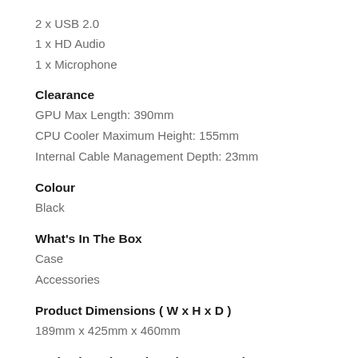2 x USB 2.0
1 x HD Audio
1 x Microphone
Clearance
GPU Max Length: 390mm
CPU Cooler Maximum Height: 155mm
Internal Cable Management Depth: 23mm
Colour
Black
What's In The Box
Case
Accessories
Product Dimensions ( W x H x D )
189mm x 425mm x 460mm
Packaging Dimensions ( W x H x D )